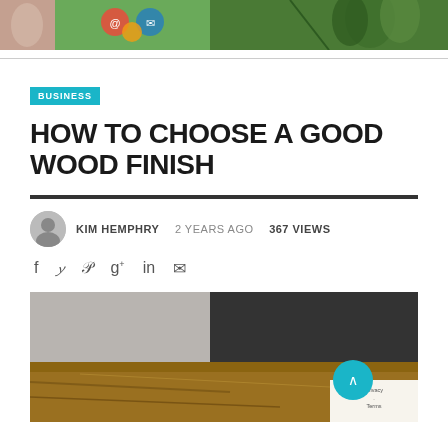[Figure (photo): Three header thumbnail images: a skin/body close-up, colorful social media icons on green background, and cannabis/marijuana plant]
BUSINESS
HOW TO CHOOSE A GOOD WOOD FINISH
KIM HEMPHRY   2 YEARS AGO   367 VIEWS
[Figure (infographic): Social share icons: Facebook, Twitter, Pinterest, Google+, LinkedIn, Email]
[Figure (photo): Close-up photo of a wooden surface with warm brown tones, showing wood grain texture on what appears to be a table or furniture piece]